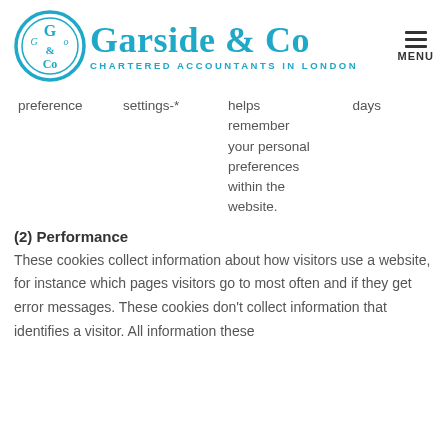[Figure (logo): Garside & Co Chartered Accountants in London logo with circular emblem and teal text, plus hamburger menu icon and MENU label]
| preference | settings-* | helps remember your personal preferences within the website. | days |
(2) Performance
These cookies collect information about how visitors use a website, for instance which pages visitors go to most often and if they get error messages. These cookies don't collect information that identifies a visitor. All information these